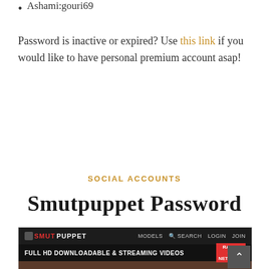Ashami:gouri69
Password is inactive or expired? Use this link if you would like to have personal premium account asap!
SOCIAL ACCOUNTS
Smutpuppet Password
[Figure (screenshot): Screenshot of Smutpuppet website header showing logo, navigation links (MODELS, SEARCH, LOGIN, JOIN), and a banner reading FULL HD DOWNLOADABLE & STREAMING VIDEOS with a RATED 5 STAR NETWORK badge.]